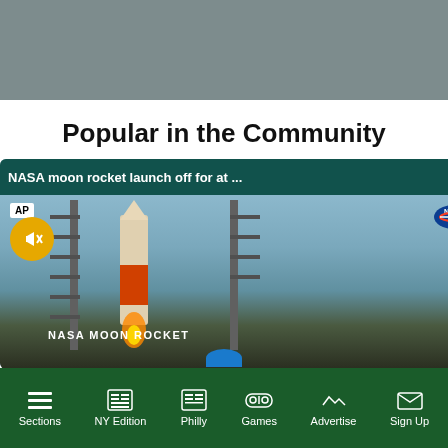[Figure (photo): Gray advertisement banner at top of page]
Popular in the Community
[Figure (screenshot): Video player overlay showing NASA moon rocket launch with AP and NASA badges, mute button, close button, and title bar reading 'NASA moon rocket launch off for at ...' with rocket on launch pad against sky background. Two partially visible card thumbnails to the right.]
Sections | NY Edition | Philly | Games | Advertise | Sign Up